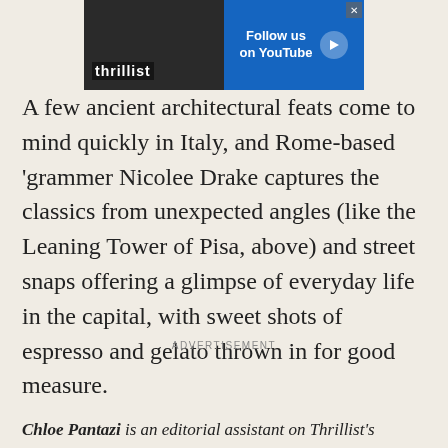[Figure (other): Thrillist advertisement banner with logo on left and 'Follow us on YouTube' text with play button on right blue background]
A few ancient architectural feats come to mind quickly in Italy, and Rome-based 'grammer Nicolee Drake captures the classics from unexpected angles (like the Leaning Tower of Pisa, above) and street snaps offering a glimpse of everyday life in the capital, with sweet shots of espresso and gelato thrown in for good measure.
ADVERTISEMENT
Chloe Pantazi is an editorial assistant on Thrillist's